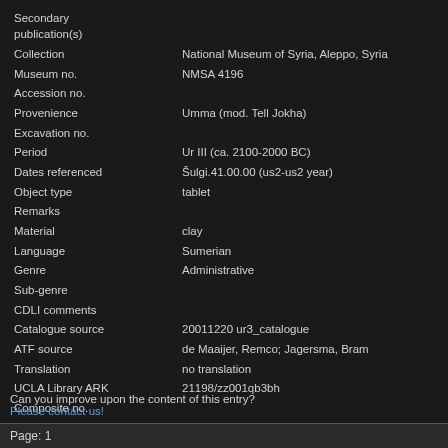| Secondary publication(s) |  |
| Collection | National Museum of Syria, Aleppo, Syria |
| Museum no. | NMSA 4196 |
| Accession no. |  |
| Provenience | Umma (mod. Tell Jokha) |
| Excavation no. |  |
| Period | Ur III (ca. 2100-2000 BC) |
| Dates referenced | Šulgi.41.00.00 (us2-us2 year) |
| Object type | tablet |
| Remarks |  |
| Material | clay |
| Language | Sumerian |
| Genre | Administrative |
| Sub-genre |  |
| CDLI comments |  |
| Catalogue source | 20011220 ur3_catalogue |
| ATF source | de Maaijer, Remco; Jagersma, Bram |
| Translation | no translation |
| UCLA Library ARK | 21198/zz001qb3bh |
| Composite no. |  |
| Seal no. | S003415.1 |
| CDLI no. | P100553 |
Can you improve upon the content of this entry?
Please contact us!
Page: 1